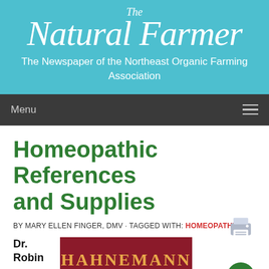The Natural Farmer — The Newspaper of the Northeast Organic Farming Association
Homeopathic References and Supplies
BY MARY ELLEN FINGER, DMV · TAGGED WITH: HOMEOPATHY
[Figure (other): Book cover showing 'HAHNEMANN' text on a dark red/maroon background with gold lettering]
Dr. Robin